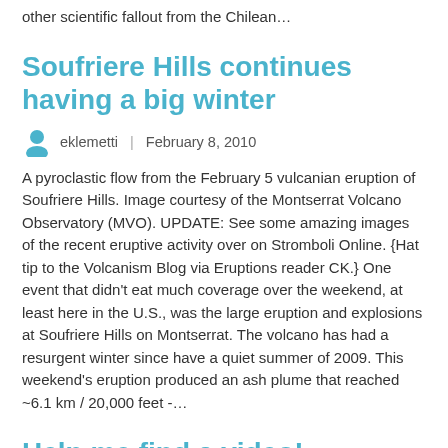other scientific fallout from the Chilean...
Soufriere Hills continues having a big winter
eklemetti | February 8, 2010
A pyroclastic flow from the February 5 vulcanian eruption of Soufriere Hills. Image courtesy of the Montserrat Volcano Observatory (MVO). UPDATE: See some amazing images of the recent eruptive activity over on Stromboli Online. {Hat tip to the Volcanism Blog via Eruptions reader CK.} One event that didn't eat much coverage over the weekend, at least here in the U.S., was the large eruption and explosions at Soufriere Hills on Montserrat. The volcano has had a resurgent winter since have a quiet summer of 2009. This weekend's eruption produced an ash plume that reached ~6.1 km / 20,000 feet -...
Help me find a video!
eklemetti | February 8, 2010